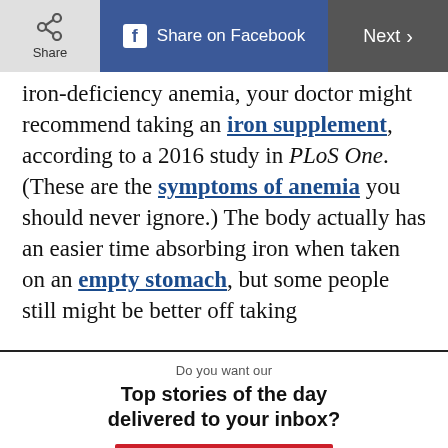[Figure (screenshot): Top navigation bar with Share button, Share on Facebook button, and Next button]
iron-deficiency anemia, your doctor might recommend taking an iron supplement, according to a 2016 study in PLoS One. (These are the symptoms of anemia you should never ignore.) The body actually has an easier time absorbing iron when taken on an empty stomach, but some people still might be better off taking
Do you want our
Top stories of the day delivered to your inbox?
YES PLEASE!
NO THANKS